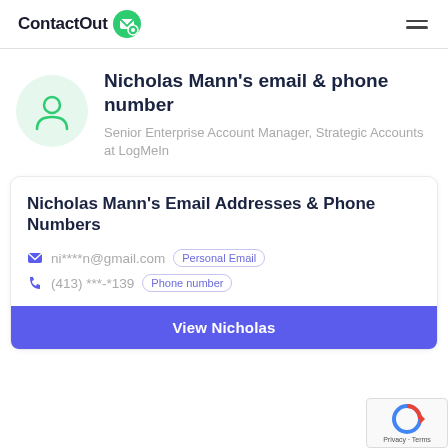ContactOut
Nicholas Mann's email & phone number
Senior Enterprise Account Manager, Strategic Accounts at LogMeIn
Nicholas Mann's Email Addresses & Phone Numbers
ni****n@gmail.com  Personal Email
(413) ***-*139  Phone number
View Nicholas